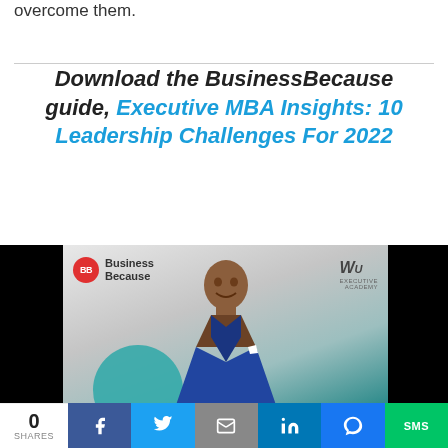overcome them.
Download the BusinessBecause guide, Executive MBA Insights: 10 Leadership Challenges For 2022
[Figure (photo): Cover of BusinessBecause guide showing a man in a blue suit smiling, with Business Because logo and WU Executive Academy branding, over a teal/dark background]
0 SHARES | Facebook | Twitter | Email | LinkedIn | Messenger | SMS